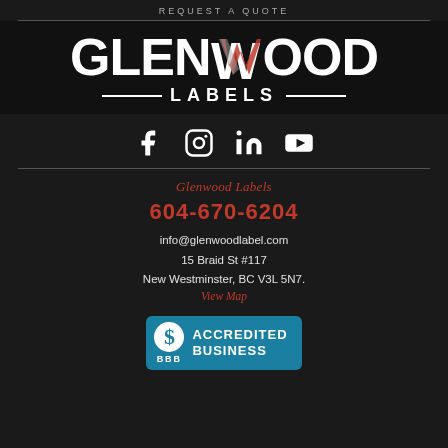REQUEST A QUOTE
[Figure (logo): Glenwood Labels logo with large white bold text 'GLENWOOD' where the W has a red and grey brushstroke effect, and 'LABELS' below with horizontal lines on each side]
[Figure (infographic): Social media icons: Facebook (f), Instagram (camera/circle), LinkedIn (in), YouTube (play button triangle)]
Glenwood Labels
604-670-6204
info@glenwoodlabel.com
15 Braid St #117
New Westminster, BC V3L 5N7.
View Map
[Figure (logo): BBB Accredited Business badge: teal background with white BBB symbol in circle on left and 'ACCREDITED BUSINESS' text on right]